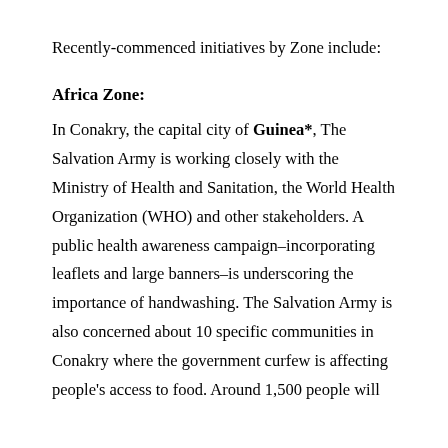Recently-commenced initiatives by Zone include:
Africa Zone:
In Conakry, the capital city of Guinea*, The Salvation Army is working closely with the Ministry of Health and Sanitation, the World Health Organization (WHO) and other stakeholders. A public health awareness campaign–incorporating leaflets and large banners–is underscoring the importance of handwashing. The Salvation Army is also concerned about 10 specific communities in Conakry where the government curfew is affecting people's access to food. Around 1,500 people will